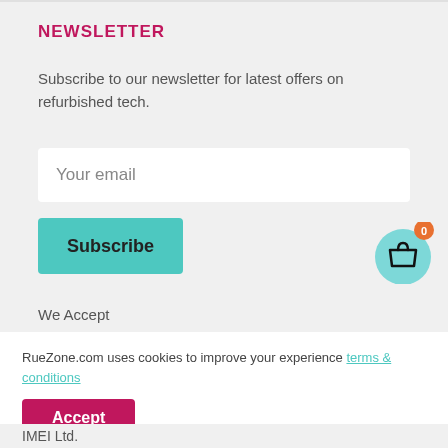NEWSLETTER
Subscribe to our newsletter for latest offers on refurbished tech.
Your email
Subscribe
[Figure (illustration): Shopping bag cart icon in a teal circle with an orange badge showing 0]
We Accept
RueZone.com uses cookies to improve your experience terms & conditions
Accept
IMEI Ltd.